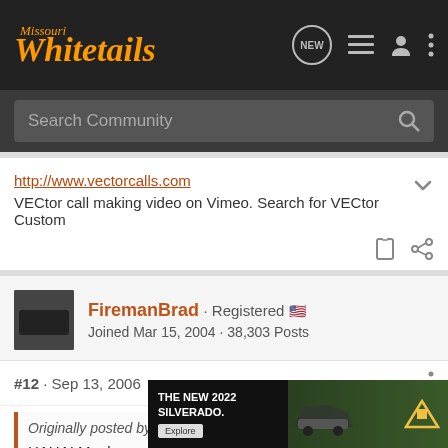Missouri Whitetails
Search Community
http://www.vectorcalls.com
VECtor call making video on Vimeo. Search for VECtor Custom
FiremanBrad · Registered
Joined Mar 15, 2004 · 38,303 Posts
#12 · Sep 13, 2006
Originally posted by Parker
HAHA! Monkey mouf! I never heard of that.....I always just call it "calling. But I use that in...calling all...in the...in god".